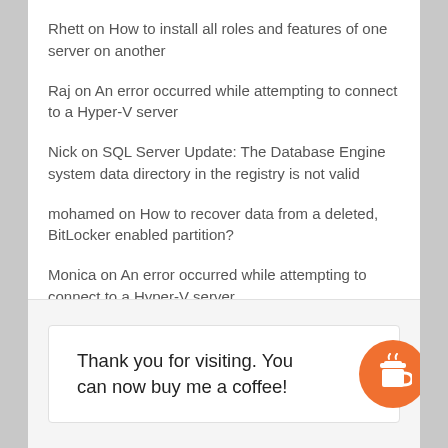Rhett on How to install all roles and features of one server on another
Raj on An error occurred while attempting to connect to a Hyper-V server
Nick on SQL Server Update: The Database Engine system data directory in the registry is not valid
mohamed on How to recover data from a deleted, BitLocker enabled partition?
Monica on An error occurred while attempting to connect to a Hyper-V server
Thank you for visiting. You can now buy me a coffee!